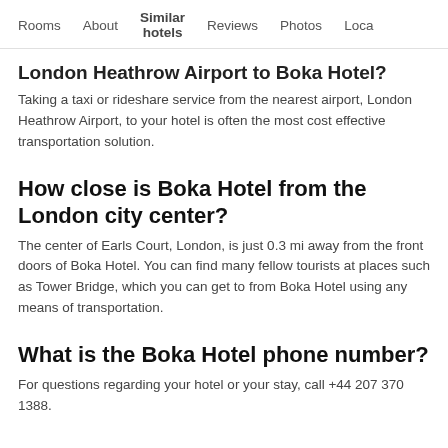Rooms   About   Similar hotels   Reviews   Photos   Loca
London Heathrow Airport to Boka Hotel?
Taking a taxi or rideshare service from the nearest airport, London Heathrow Airport, to your hotel is often the most cost effective transportation solution.
How close is Boka Hotel from the London city center?
The center of Earls Court, London, is just 0.3 mi away from the front doors of Boka Hotel. You can find many fellow tourists at places such as Tower Bridge, which you can get to from Boka Hotel using any means of transportation.
What is the Boka Hotel phone number?
For questions regarding your hotel or your stay, call +44 207 370 1388.